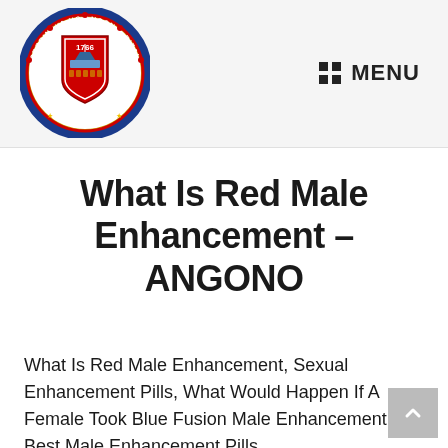[Figure (logo): Circular seal of Angono, Rizal (Probinsya ng Angono, Rizal, R.P.) with year 1766, featuring a red shield crest with boats and barrels, blue border with text and stars, gold decorative elements]
MENU
What Is Red Male Enhancement – ANGONO
What Is Red Male Enhancement, Sexual Enhancement Pills, What Would Happen If A Female Took Blue Fusion Male Enhancement , Best Male Enhancement Pills.